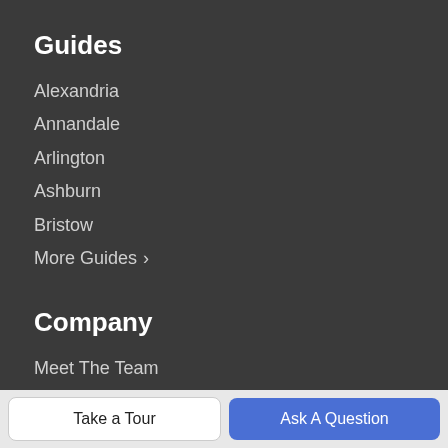Guides
Alexandria
Annandale
Arlington
Ashburn
Bristow
More Guides ›
Company
Meet The Team
Our Blog
Contact Us
Resources
Take a Tour
Ask A Question